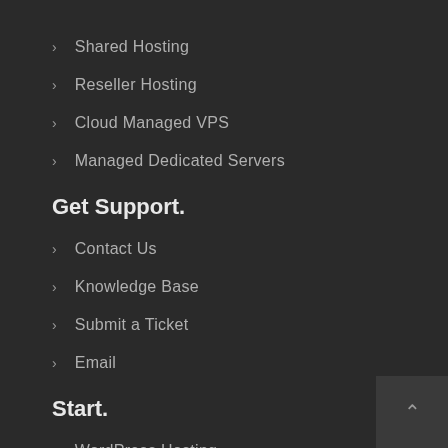Shared Hosting
Reseller Hosting
Cloud Managed VPS
Managed Dedicated Servers
Get Support.
Contact Us
Knowledge Base
Submit a Ticket
Email
Start.
WordPress Hosting
Joomla Hosting